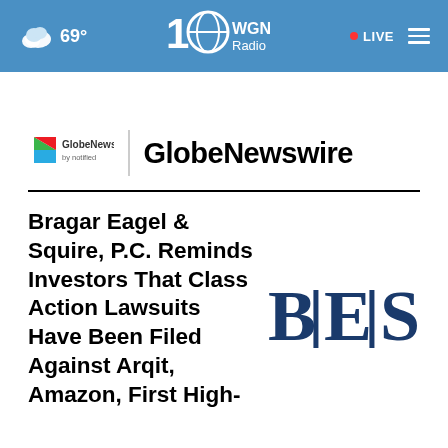69° WGN Radio LIVE
[Figure (logo): GlobeNewswire by notified logo with colorful play-button icon, vertical divider, and bold GlobeNewswire text]
Bragar Eagel & Squire, P.C. Reminds Investors That Class Action Lawsuits Have Been Filed Against Arqit, Amazon, First High-
[Figure (logo): B|E|S logo in large dark blue serif letters with vertical dividers between letters]